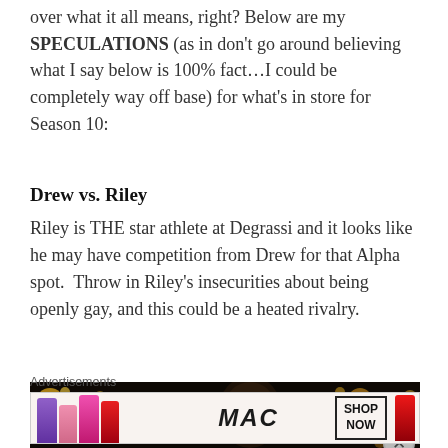over what it all means, right? Below are my SPECULATIONS (as in don't go around believing what I say below is 100% fact…I could be completely way off base) for what's in store for Season 10:
Drew vs. Riley
Riley is THE star athlete at Degrassi and it looks like he may have competition from Drew for that Alpha spot.  Throw in Riley's insecurities about being openly gay, and this could be a heated rivalry.
[Figure (photo): Dark atmospheric photo of a young man with curly hair in a dimly lit setting with bokeh lights in the background, with a close button overlay in the bottom right corner.]
Advertisements
[Figure (other): MAC Cosmetics advertisement showing colorful lipsticks on the left, MAC logo in the center, and a 'SHOP NOW' button on the right.]